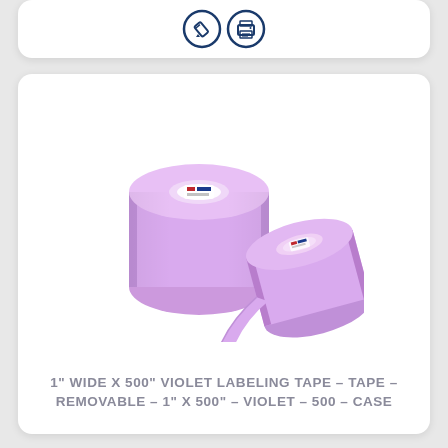[Figure (illustration): Top card with two circular icons: a pencil/edit icon and a printer icon, both in dark blue outline style on white background]
[Figure (photo): Two rolls of violet/purple labeling tape, one standing upright showing the label on the core, one leaning forward showing the tape unrolling]
1" WIDE X 500" VIOLET LABELING TAPE - TAPE - REMOVABLE - 1" X 500" - VIOLET - 500 - CASE